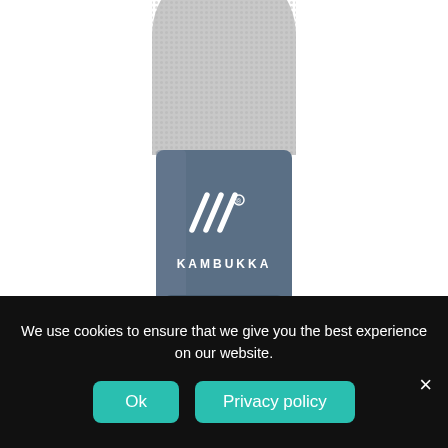[Figure (photo): Kambukka Elton Insulated water bottle, steel blue/slate color with textured grey top section, Kambukka logo and brand name visible on the bottle body.]
Kambukka® Elton Insulated 750 ml drinking bottle
Select options
We use cookies to ensure that we give you the best experience on our website.
Ok
Privacy policy